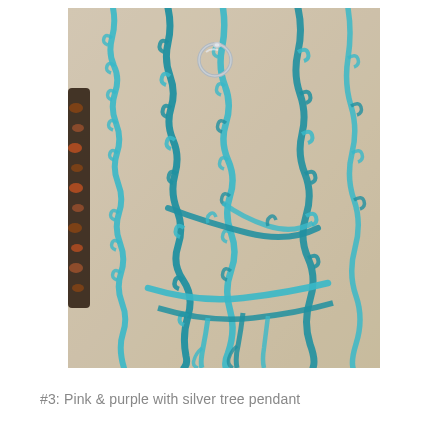[Figure (photo): Close-up photo of teal/turquoise curly yarn necklace with multiple strands draped on a beige fabric mannequin bust, with a small silver ring/clasp visible at the top center. A second necklace with orange and dark beads is partially visible on the left edge.]
#3: Pink & purple with silver tree pendant